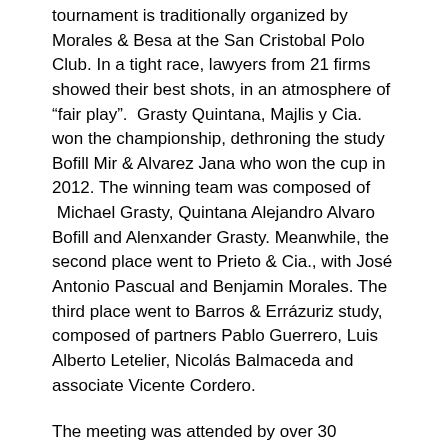tournament is traditionally organized by Morales & Besa at the San Cristobal Polo Club. In a tight race, lawyers from 21 firms showed their best shots, in an atmosphere of "fair play".  Grasty Quintana, Majlis y Cia. won the championship, dethroning the study Bofill Mir & Alvarez Jana who won the cup in 2012. The winning team was composed of  Michael Grasty, Quintana Alejandro Alvaro Bofill and Alenxander Grasty. Meanwhile, the second place went to Prieto & Cia., with José Antonio Pascual and Benjamin Morales. The third place went to Barros & Errázuriz study, composed of partners Pablo Guerrero, Luis Alberto Letelier, Nicolás Balmaceda and associate Vicente Cordero.
The meeting was attended by over 30 members of the major firms, including Jorge Carey, Jaime Carey, Roberto Guerrero, Carlos Silva, Matias Langevin, Pablo Guerrero, Federico Grebe, Guillermo Mackenna, Michael Grasty, Alejandro Quintana, Octavio Bofill, Alejandro Alvarez, Julio Lavin, Ramon Jara, Alfredo Waugh, Gerardo Varela, among others.
For the third consecutive year, the proceeds were to benefit the Light Foundation, an institution that aims to educate and integrate blind or low vision. The success of the...